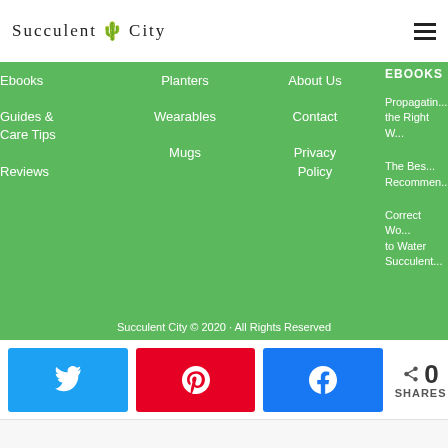Succulent City
Ebooks
Guides & Care Tips
Reviews
Planters
Wearables
Mugs
About Us
Contact
Privacy Policy
EBOOKS
Propagating the Right W...
The Best Recommen...
Correct Wa... to Water Succulent...
Succulent City © 2020 · All Rights Reserved
0 SHARES